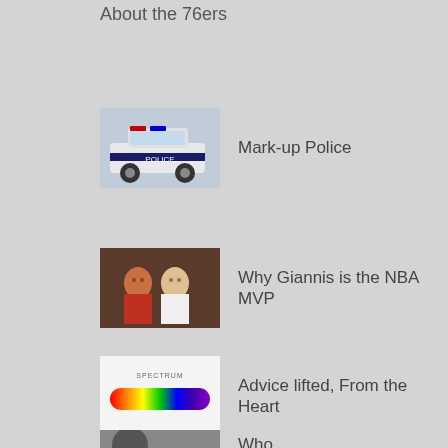About the 76ers
[Figure (photo): Police car thumbnail image]
Mark-up Police
[Figure (photo): Two NBA players posing thumbnail]
Why Giannis is the NBA MVP
[Figure (photo): Spectrum logo with rainbow bar]
Advice lifted, From the Heart
[Figure (photo): Partial thumbnail at bottom]
Who...?